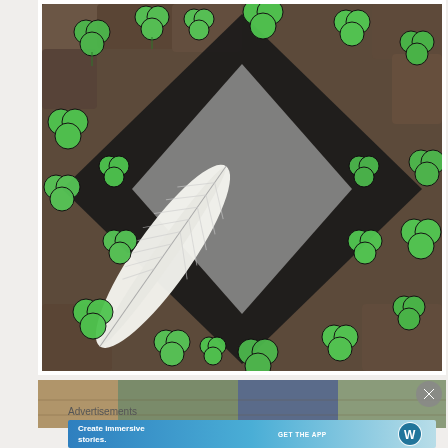[Figure (photo): Close-up photo of a diamond-shaped arrangement of green clover/shamrock decorations with a white feather placed diagonally across them, on a dark stone surface. The clovers are bright green, outlined in black, arranged on what appears to be a reflective or metallic diamond shape.]
[Figure (photo): Partial view of a second photo partially cropped at the bottom, showing an outdoor scene.]
Advertisements
[Figure (screenshot): WordPress advertisement banner with gradient blue background. Left side shows text 'Create immersive stories.' Right side shows 'GET THE APP' text and WordPress circular logo in white.]